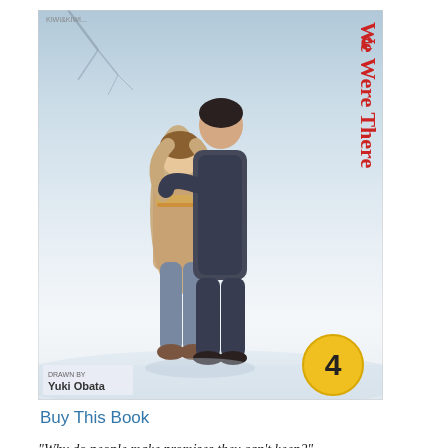[Figure (illustration): Book cover of 'We Were There' volume 4 by Yuki Obata. Shows two figures embracing in a snowy winter scene. Title text in red on the right side. Volume number 4 in a yellow circle badge at bottom right. Author name 'Yuki Obata' at bottom left.]
Buy This Book
“Why do people make promises they can’t keep?”
After hastily announcing that she was ready to have sex with Yano at the end of volume three, this volume opens with Nana in a state of abject terror as she’s faced with actually doing the deed. Reassured by Yano’s unexpected sweetness, she shakily plunges in only to be interrupted by the return of Yano’s mom before anything can really